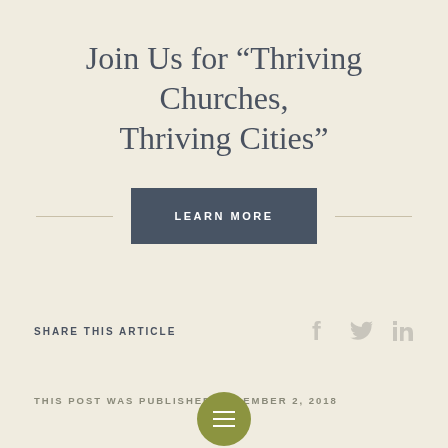Join Us for "Thriving Churches, Thriving Cities"
LEARN MORE
SHARE THIS ARTICLE
THIS POST WAS PUBLISHED NOVEMBER 2, 2018